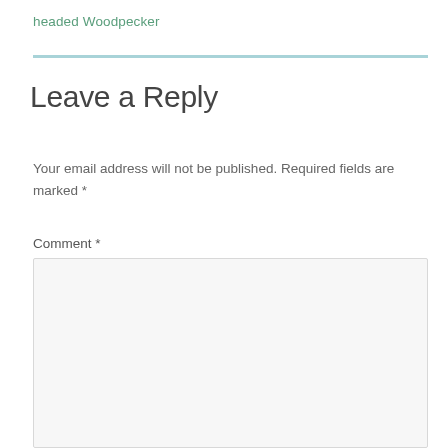headed Woodpecker
Leave a Reply
Your email address will not be published. Required fields are marked *
Comment *